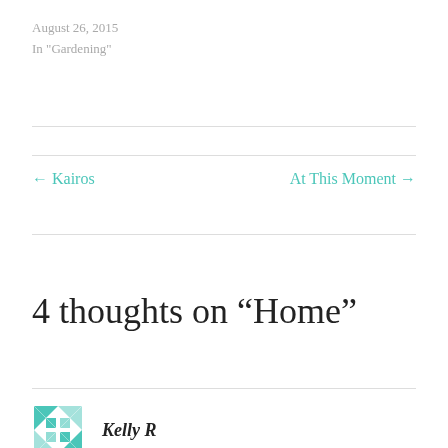August 26, 2015
In "Gardening"
← Kairos
At This Moment →
4 thoughts on “Home”
Kelly R